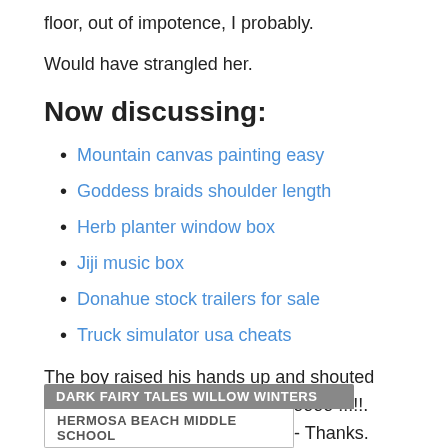floor, out of impotence, I probably.
Would have strangled her.
Now discussing:
Mountain canvas painting easy
Goddess braids shoulder length
Herb planter window box
Jiji music box
Donahue stock trailers for sale
Truck simulator usa cheats
The boy raised his hands up and shouted with all his might: - Yes. Cooloooooo !!!!!. And threw himself on my neck. - Thanks.
DARK FAIRY TALES WILLOW WINTERS
HERMOSA BEACH MIDDLE SCHOOL